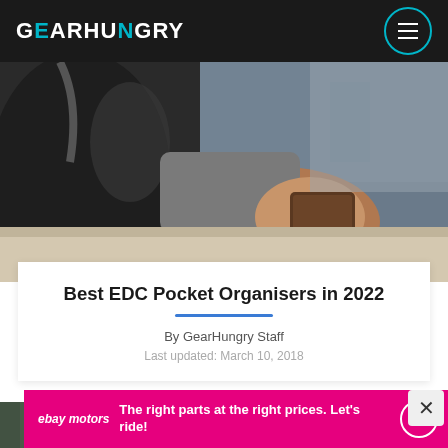GEARHUNGRY
[Figure (photo): Person leaning on a ledge outdoors, holding a small brown wallet/organizer, wearing a jacket with a backpack visible]
Best EDC Pocket Organisers in 2022
By GearHungry Staff
Last updated: March 10, 2018
[Figure (photo): Second photo strip partially visible]
[Figure (other): eBay Motors advertisement banner: 'The right parts at the right prices. Let's ride!']